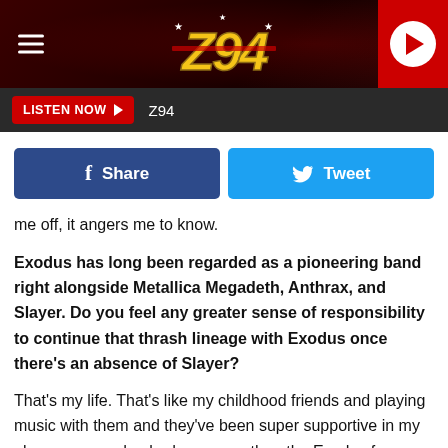[Figure (screenshot): Z94 radio station website header with dark red/maroon background, stylized Z94 logo in gold italic font with star motifs, hamburger menu icon on left, red play button circle on right]
[Figure (screenshot): Listen Now bar with red LISTEN NOW button with play arrow, and Z94 station name in white on dark background]
[Figure (screenshot): Social sharing row with blue Facebook Share button and light blue Twitter Tweet button]
me off, it angers me to know.
Exodus has long been regarded as a pioneering band right alongside Metallica Megadeth, Anthrax, and Slayer. Do you feel any greater sense of responsibility to continue that thrash lineage with Exodus once there's an absence of Slayer?
That's my life. That's like my childhood friends and playing music with them and they've been super supportive in my absence as and nobody more so than the Exodus fans themselves, but I've been writing for the last several months